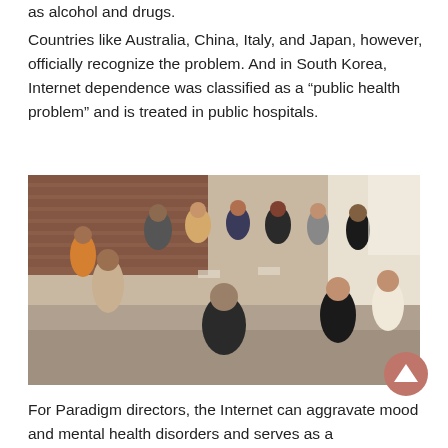as alcohol and drugs.
Countries like Australia, China, Italy, and Japan, however, officially recognize the problem. And in South Korea, Internet dependence was classified as a “public health problem” and is treated in public hospitals.
[Figure (photo): Group of diverse people sitting in a circle in chairs, appearing to be in a group therapy or support group session, in a room with brick walls.]
For Paradigm directors, the Internet can aggravate mood and mental health disorders and serves as a